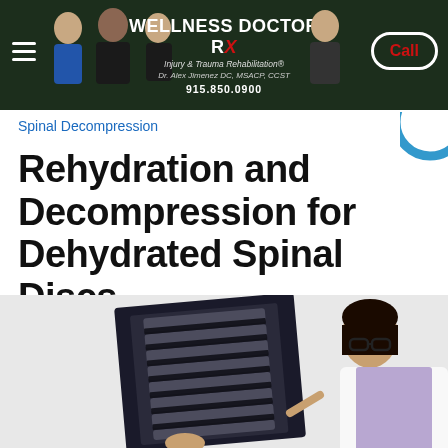WELLNESS DOCTOR Rx — Injury & Trauma Rehabilitation® — Dr. Alex Jimenez DC, MSACP, CCST — 915.850.0900 — Call
Spinal Decompression
Rehydration and Decompression for Dehydrated Spinal Discs
[Figure (photo): A female doctor or medical professional wearing glasses and a white coat, holding up and examining an X-ray film showing spinal vertebrae.]